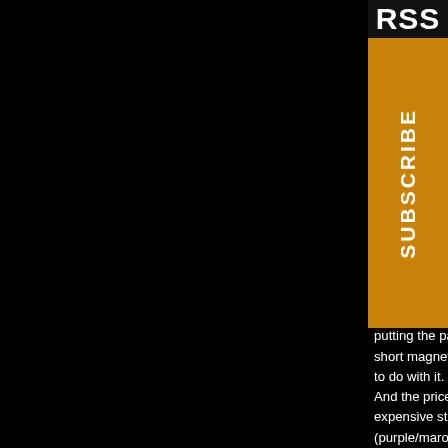may have been some like the ES models. The 5 and 1960. It seems a was stronger, it bec b pickups became mo s convincing. There is ca and in how many w / the low 9K. By late 60, there s 7.4 to 8.1K range. There are s later short magnet PAF occu how the wire is wound on the how much wire there is. Son had great ones and some pr be more consistently good. H the best short magnet PAF. PAF. That's my opinion base putting the patent number sti short magnet PAF. Ever wond to do with it. They mixed PAF And the price. A PAF equipp expensive stickers. There is (purple/maroon) wire to the p unopened pickups but I've s awhile. Guitars with gold har
[Figure (other): RSS Subscribe badge overlay — top portion black with 'RSS' text in white bold, bottom portion orange/golden with 'SUBSCRIBE' text vertical in white bold]